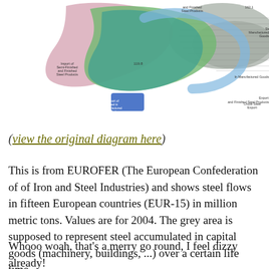[Figure (flowchart): A Sankey-style flow diagram showing steel flows in fifteen European countries (EUR-15) from EUROFER. Shows flows of crude steel, semi-finished and finished steel products, steel in manufactured goods, imports and exports, with colored ribbon-like arrows on a grey background representing accumulated steel in capital goods.]
(view the original diagram here)
This is from EUROFER (The European Confederation of of Iron and Steel Industries) and shows steel flows in fifteen European countries (EUR-15) in million metric tons. Values are for 2004. The grey area is supposed to represent steel accumulated in capital goods (machinery, buildings, ...) over a certain life time.
Whooo woah, that's a merry go round, I feel dizzy already!